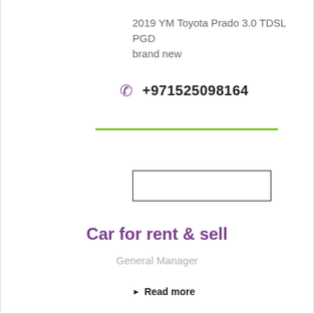2019 YM Toyota Prado 3.0 TDSL PGD brand new
+971525098164
[Figure (other): Empty input/search box with black border]
Car for rent & sell
General Manager
Read more